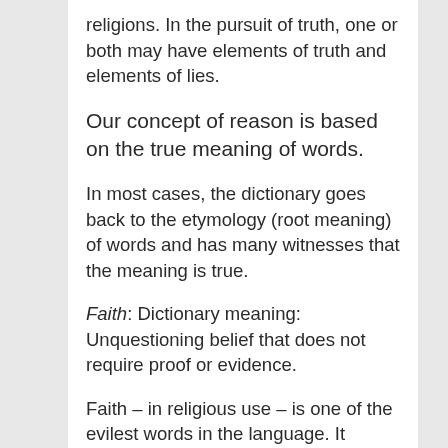religions. In the pursuit of truth, one or both may have elements of truth and elements of lies.
Our concept of reason is based on the true meaning of words.
In most cases, the dictionary goes back to the etymology (root meaning) of words and has many witnesses that the meaning is true.
Faith: Dictionary meaning: Unquestioning belief that does not require proof or evidence.
Faith – in religious use – is one of the evilest words in the language. It